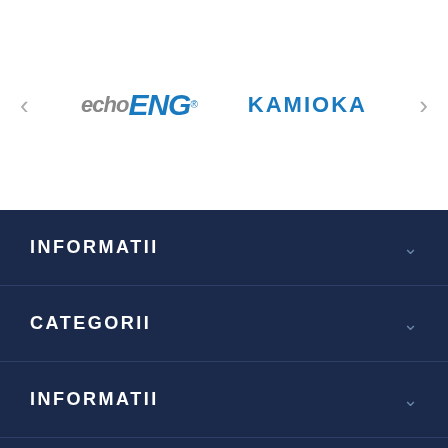[Figure (logo): echoENG and KAMIOKA logos displayed as a carousel with left and right navigation arrows]
INFORMATII
CATEGORII
INFORMATII